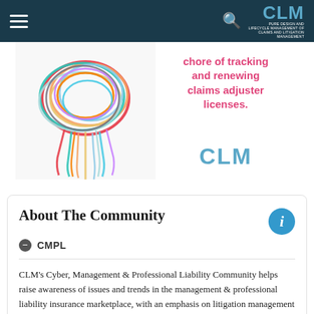CLM navigation header
[Figure (screenshot): CLM advertisement banner showing tangled colorful rubber bands on the left and text 'chore of tracking and renewing claims adjuster licenses.' with CLM logo on the right]
About The Community
CMPL
CLM's Cyber, Management & Professional Liability Community helps raise awareness of issues and trends in the management & professional liability insurance marketplace, with an emphasis on litigation management through a collaborative effort between insurance companies and brokerages, claims organizations and